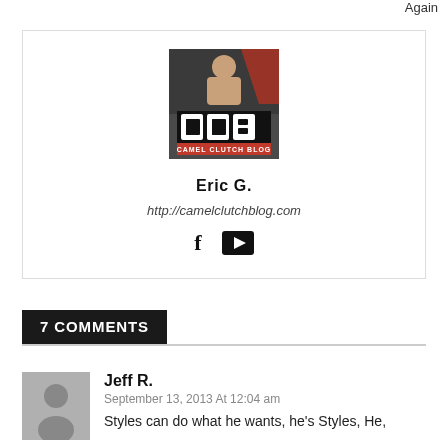Again
[Figure (logo): Camel Clutch Blog logo with wrestler and CCB letters]
Eric G.
http://camelclutchblog.com
[Figure (other): Facebook and YouTube social media icons]
7 COMMENTS
Jeff R.
September 13, 2013 At 12:04 am
Styles can do what he wants, he's Styles, He,